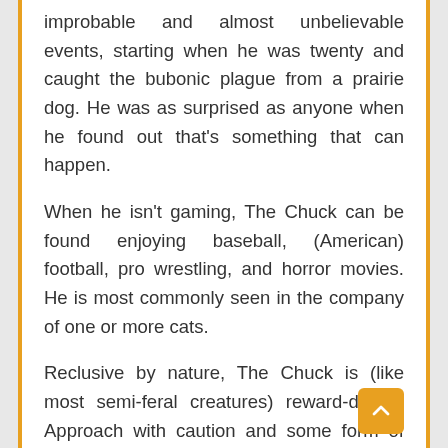improbable and almost unbelievable events, starting when he was twenty and caught the bubonic plague from a prairie dog. He was as surprised as anyone when he found out that's something that can happen.
When he isn't gaming, The Chuck can be found enjoying baseball, (American) football, pro wrestling, and horror movies. He is most commonly seen in the company of one or more cats.
Reclusive by nature, The Chuck is (like most semi-feral creatures) reward-driven. Approach with caution and some form of treat.